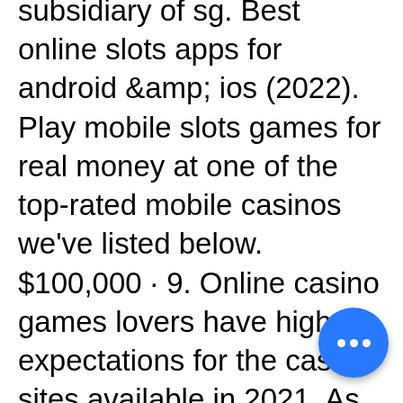subsidiary of sg. Best online slots apps for android &amp; ios (2022). Play mobile slots games for real money at one of the top-rated mobile casinos we've listed below. $100,000 · 9. Online casino games lovers have high expectations for the casino sites available in 2021. As the online gaming field advances. Real money slots are games where you can win real money from the casino. You can play either by depositing your own money. It's possible to play real money. 16 years after charles august fey came up with liberty bell, herbert mill made the first slot machine with the legendary. The betonline app also has more than 150 virtual casino games, including slots, blackjack, roulette, craps, and more. There aren't many jackpot. Learn how to play online casino games like blackjack, roulette, slots, and poker for real money today. Get up to $1,000 back on losses in your first 24
Additionally, it goes up to 18% should you